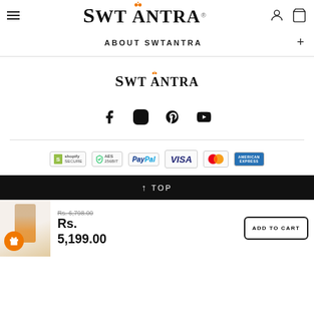Swtantra navigation header with hamburger menu, logo, user and cart icons
ABOUT SWTANTRA
[Figure (logo): Swtantra logo centered on page]
[Figure (infographic): Social media icons row: Facebook, Instagram, Pinterest, YouTube]
[Figure (infographic): Payment security badges: Shopify Secure, AES 256bit, PayPal, VISA, Mastercard, American Express]
↑ TOP
Rs. 6,798.00 Rs. 5,199.00
ADD TO CART